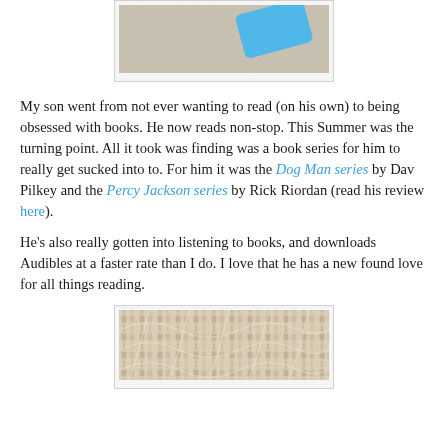[Figure (photo): Partial photo showing a blue card/object on a textured beige/grey fabric or carpet surface, viewed from above.]
My son went from not ever wanting to read (on his own) to being obsessed with books. He now reads non-stop. This Summer was the turning point. All it took was finding was a book series for him to really get sucked into to. For him it was the Dog Man series by Dav Pilkey and the Percy Jackson series by Rick Riordan (read his review here).
He's also really gotten into listening to books, and downloads Audibles at a faster rate than I do. I love that he has a new found love for all things reading.
[Figure (photo): Close-up photo of intricate macrame or woven rope/cord in beige and white tones with a leaf/chevron pattern.]